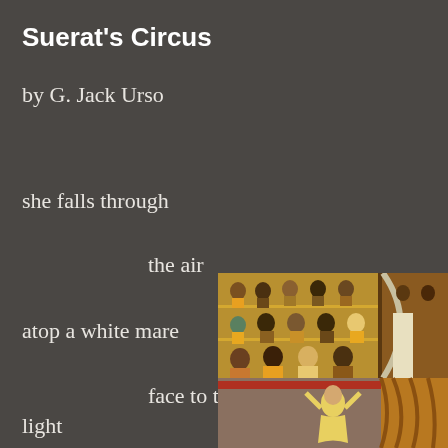Suerat's Circus
by G. Jack Urso
she falls through
the air
atop a white mare
face to the
light
[Figure (illustration): A detail from Seurat's Circus painting showing circus audience members seated in rows and a performer in yellow at the bottom right, with warm ochre and earthy tones.]